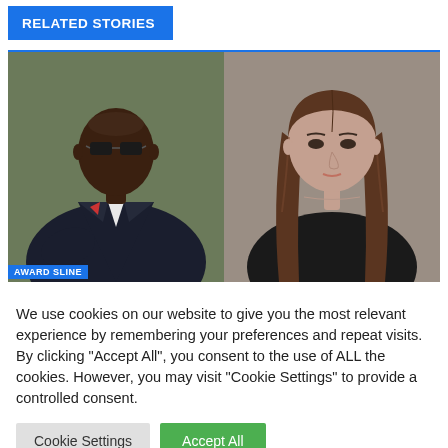RELATED STORIES
[Figure (photo): Two side-by-side portrait photos: left shows a Black man wearing sunglasses and a dark suit with a red pocket square; right shows a woman with long brown hair wearing a black top. A blue label reading 'AWARD SLINE' appears at the bottom of the left photo.]
We use cookies on our website to give you the most relevant experience by remembering your preferences and repeat visits. By clicking "Accept All", you consent to the use of ALL the cookies. However, you may visit "Cookie Settings" to provide a controlled consent.
Cookie Settings | Accept All